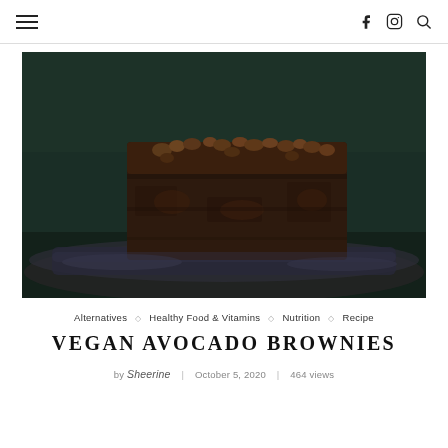≡   f  ⊙  🔍
[Figure (photo): Close-up photo of a chocolate brownie topped with walnuts, served on a dark plate against a dark teal background.]
Alternatives ◇ Healthy Food & Vitamins ◇ Nutrition ◇ Recipe
VEGAN AVOCADO BROWNIES
by Sheerine | October 5, 2020 | 464 views